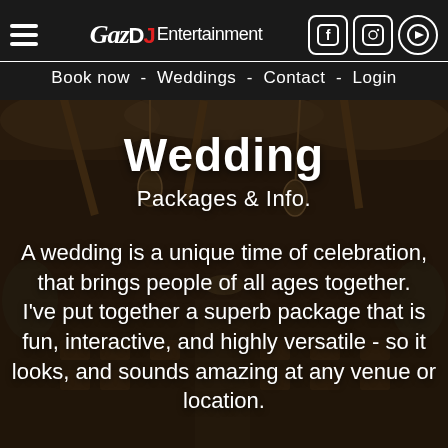GazDJ Entertainment - Book now - Weddings - Contact - Login
Wedding
Packages & Info.
[Figure (photo): Dark interior of a decorated wedding venue with draped fabric ceiling, wooden beams, hanging lanterns, and rows of chairs set for a wedding reception.]
A wedding is a unique time of celebration, that brings people of all ages together. I've put together a superb package that is fun, interactive, and highly versatile - so it looks, and sounds amazing at any venue or location.